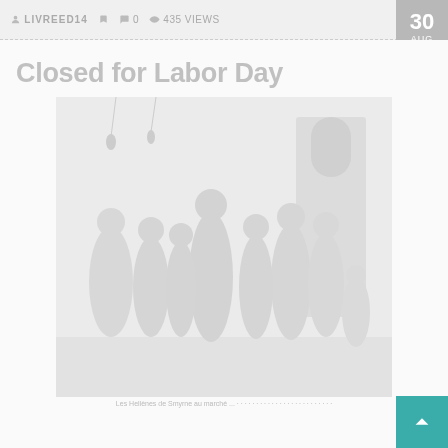LIVREED14  0  435 VIEWS
Closed for Labor Day
[Figure (illustration): A faded pencil-style illustration depicting a group of people in historical/traditional dress gathered in what appears to be a marketplace or public space, with an arched building in the background.]
Les Hellènes de Smyrne au marché ... (illegible caption text)